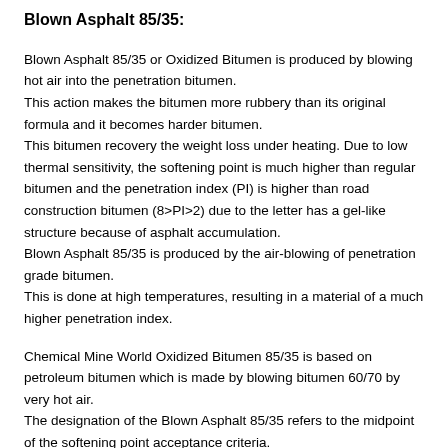Blown Asphalt 85/35:
Blown Asphalt 85/35 or Oxidized Bitumen is produced by blowing hot air into the penetration bitumen. This action makes the bitumen more rubbery than its original formula and it becomes harder bitumen. This bitumen recovery the weight loss under heating. Due to low thermal sensitivity, the softening point is much higher than regular bitumen and the penetration index (PI) is higher than road construction bitumen (8>PI>2) due to the letter has a gel-like structure because of asphalt accumulation. Blown Asphalt 85/35 is produced by the air-blowing of penetration grade bitumen. This is done at high temperatures, resulting in a material of a much higher penetration index.
Chemical Mine World Oxidized Bitumen 85/35 is based on petroleum bitumen which is made by blowing bitumen 60/70 by very hot air. The designation of the Blown Asphalt 85/35 refers to the midpoint of the softening point acceptance criteria. Chemical Mine World Oxidized Bitumen 85/35 is produced by either